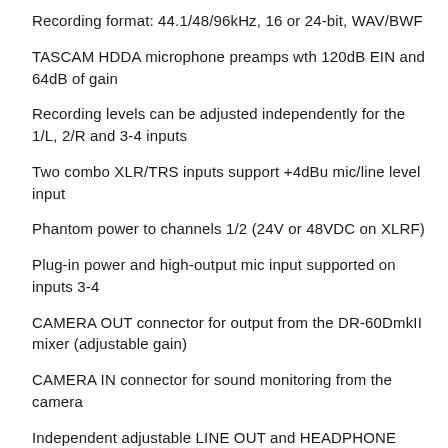Recording format: 44.1/48/96kHz, 16 or 24-bit, WAV/BWF
TASCAM HDDA microphone preamps wth 120dB EIN and 64dB of gain
Recording levels can be adjusted independently for the 1/L, 2/R and 3-4 inputs
Two combo XLR/TRS inputs support +4dBu mic/line level input
Phantom power to channels 1/2 (24V or 48VDC on XLRF)
Plug-in power and high-output mic input supported on inputs 3-4
CAMERA OUT connector for output from the DR-60DmkII mixer (adjustable gain)
CAMERA IN connector for sound monitoring from the camera
Independent adjustable LINE OUT and HEADPHONE jacks for high-quality sound output
50mW/ch headphone amplifier